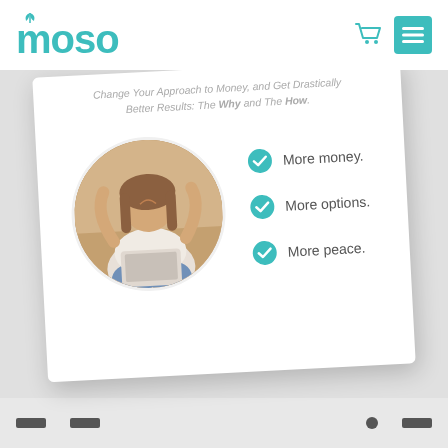[Figure (logo): moso logo with teal leaf icon above the letter m, teal colored lowercase text]
Change Your Approach to Money, and Get Drastically Better Results: The Why and The How.
[Figure (photo): Circular photo of a woman with her hands raised in celebration, sitting cross-legged with a laptop]
More money.
More options.
More peace.